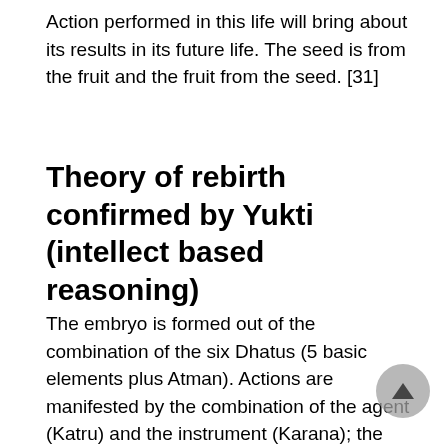Action performed in this life will bring about its results in its future life. The seed is from the fruit and the fruit from the seed. [31]
Theory of rebirth confirmed by Yukti (intellect based reasoning)
The embryo is formed out of the combination of the six Dhatus (5 basic elements plus Atman). Actions are manifested by the combination of the agent (Katru) and the instrument (Karana); the results come out of the action performed. There can be no germination without a seed. The result always corresponds to action. A seed cannot bring out